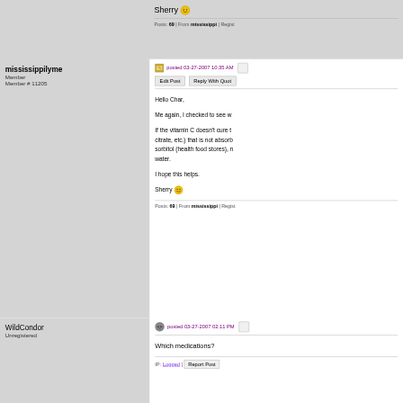Sherry 🙂
Posts: 69 | From mississippi | Regist...
mississippilyme
Member
Member # 11205
posted 03-27-2007 10:35 AM
Edit Post   Reply With Quot...
Hello Char,

Me again, I checked to see w...

If the vitamin C doesn't cure t... citrate, etc.) that is not absorb... sorbitol (health food stores), n... water.

I hope this helps.

Sherry 🙂
Posts: 69 | From mississippi | Regist...
WildCondor
Unregistered
posted 03-27-2007 02:11 PM
Which medications?
IP: Logged |
Report Post